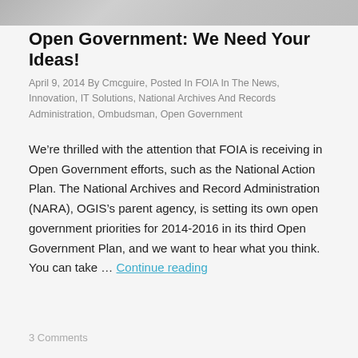[Figure (photo): Grayscale photograph strip at top of page, partially visible]
Open Government: We Need Your Ideas!
April 9, 2014 By Cmcguire, Posted In FOIA In The News, Innovation, IT Solutions, National Archives And Records Administration, Ombudsman, Open Government
We’re thrilled with the attention that FOIA is receiving in Open Government efforts, such as the National Action Plan. The National Archives and Record Administration (NARA), OGIS’s parent agency, is setting its own open government priorities for 2014-2016 in its third Open Government Plan, and we want to hear what you think. You can take … Continue reading
3 Comments